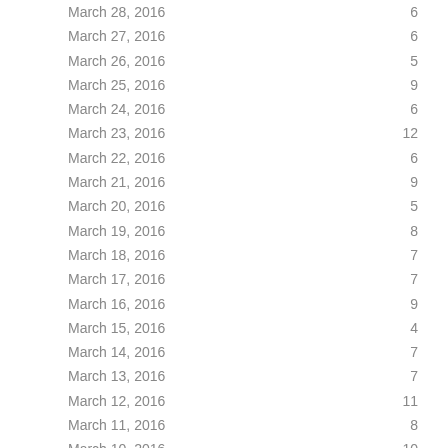| Date | Count |
| --- | --- |
| March 28, 2016 | 6 |
| March 27, 2016 | 6 |
| March 26, 2016 | 5 |
| March 25, 2016 | 9 |
| March 24, 2016 | 6 |
| March 23, 2016 | 12 |
| March 22, 2016 | 6 |
| March 21, 2016 | 9 |
| March 20, 2016 | 5 |
| March 19, 2016 | 8 |
| March 18, 2016 | 7 |
| March 17, 2016 | 7 |
| March 16, 2016 | 9 |
| March 15, 2016 | 4 |
| March 14, 2016 | 7 |
| March 13, 2016 | 7 |
| March 12, 2016 | 11 |
| March 11, 2016 | 8 |
| March 10, 2016 | 10 |
| March 9, 2016 | 10 |
| March 8, 2016 | 8 |
| March 7, 2016 | 7 |
| March 6, 2016 | 8 |
| March 5, 2016 | 7 |